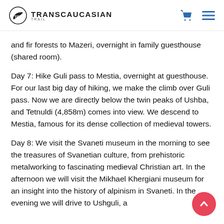Transcaucasian Trail
and fir forests to Mazeri, overnight in family guesthouse (shared room).
Day 7: Hike Guli pass to Mestia, overnight at guesthouse. For our last big day of hiking, we make the climb over Guli pass. Now we are directly below the twin peaks of Ushba, and Tetnuldi (4,858m) comes into view. We descend to Mestia, famous for its dense collection of medieval towers.
Day 8: We visit the Svaneti museum in the morning to see the treasures of Svanetian culture, from prehistoric metalworking to fascinating medieval Christian art. In the afternoon we will visit the Mikhael Khergiani museum for an insight into the history of alpinism in Svaneti. In the evening we will drive to Ushguli, a